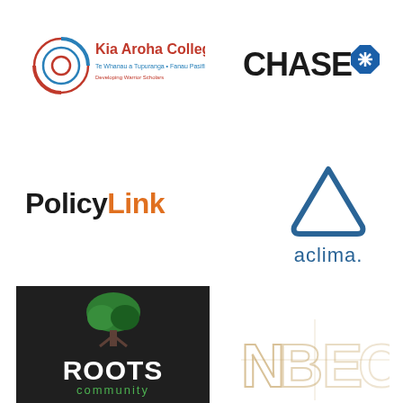[Figure (logo): Kia Aroha College logo with spiral Maori koru design in red and blue, text reads 'Kia Aroha College', 'Te Whanau a Tupuranga • Fanau Pasifika', 'Developing Warrior Scholars']
[Figure (logo): Chase bank logo: bold black text 'CHASE' with blue octagon shield icon to the right]
[Figure (logo): PolicyLink logo: bold text 'Policy' in black and 'Link' in orange]
[Figure (logo): Aclima logo: rounded triangle outline in steel blue above text 'aclima.' in steel blue lowercase]
[Figure (logo): Roots Community logo on dark background: green tree illustration above white bold text 'ROOTS' and green lowercase text 'community']
[Figure (logo): NBEC logo: large stylized letters N, B, E, C in tan/gold tones with geometric line patterns]